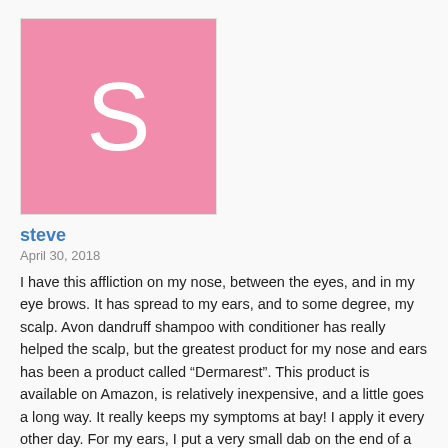[Figure (illustration): Pink square avatar with a white letter S in the center]
steve
April 30, 2018
I have this affliction on my nose, between the eyes, and in my eye brows. It has spread to my ears, and to some degree, my scalp. Avon dandruff shampoo with conditioner has really helped the scalp, but the greatest product for my nose and ears has been a product called “Dermarest”. This product is available on Amazon, is relatively inexpensive, and a little goes a long way. It really keeps my symptoms at bay! I apply it every other day. For my ears, I put a very small dab on the end of a q-tip and apply it even to the inside of my ear canal. In two days it eliminated all of the little white flaky pieces and eliminated the itchiness. Hope this will help someone.